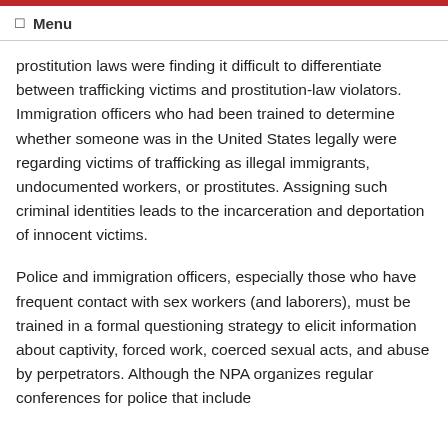☰  Menu
prostitution laws were finding it difficult to differentiate between trafficking victims and prostitution-law violators. Immigration officers who had been trained to determine whether someone was in the United States legally were regarding victims of trafficking as illegal immigrants, undocumented workers, or prostitutes. Assigning such criminal identities leads to the incarceration and deportation of innocent victims.
Police and immigration officers, especially those who have frequent contact with sex workers (and laborers), must be trained in a formal questioning strategy to elicit information about captivity, forced work, coerced sexual acts, and abuse by perpetrators. Although the NPA organizes regular conferences for police that include